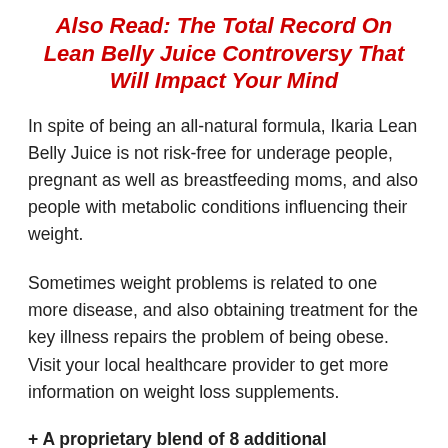Also Read: The Total Record On Lean Belly Juice Controversy That Will Impact Your Mind
In spite of being an all-natural formula, Ikaria Lean Belly Juice is not risk-free for underage people, pregnant as well as breastfeeding moms, and also people with metabolic conditions influencing their weight.
Sometimes weight problems is related to one more disease, and also obtaining treatment for the key illness repairs the problem of being obese. Visit your local healthcare provider to get more information on weight loss supplements.
+ A proprietary blend of 8 additional ingredients